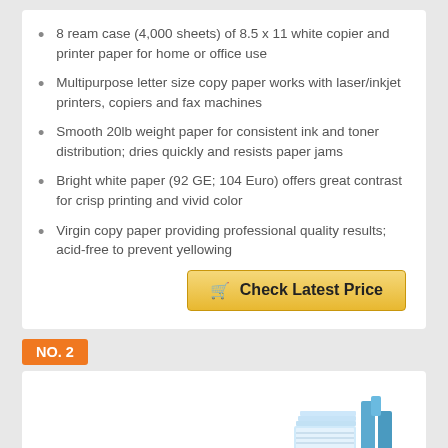8 ream case (4,000 sheets) of 8.5 x 11 white copier and printer paper for home or office use
Multipurpose letter size copy paper works with laser/inkjet printers, copiers and fax machines
Smooth 20lb weight paper for consistent ink and toner distribution; dries quickly and resists paper jams
Bright white paper (92 GE; 104 Euro) offers great contrast for crisp printing and vivid color
Virgin copy paper providing professional quality results; acid-free to prevent yellowing
Check Latest Price
NO. 2
[Figure (photo): Product image placeholder at bottom of page]